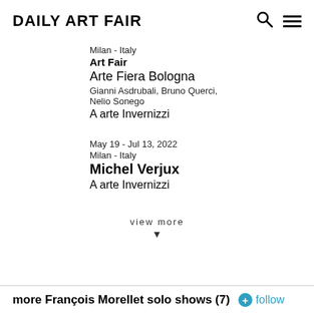Daily Art Fair
Milan - Italy
Art Fair
Arte Fiera Bologna
Gianni Asdrubali, Bruno Querci, Nelio Sonego
A arte Invernizzi
May 19 - Jul 13, 2022
Milan - Italy
Michel Verjux
A arte Invernizzi
view more
more François Morellet solo shows (7)  follow